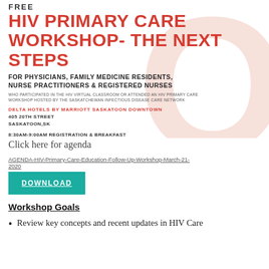FREE HIV PRIMARY CARE WORKSHOP- THE NEXT STEPS
FOR PHYSICIANS, FAMILY MEDICINE RESIDENTS, NURSE PRACTITIONERS & REGISTERED NURSES
WHO PARTICIPATED IN THE HIV VIRTUAL CLASSROOM OR ATTENDED AN HIV PRIMARY CARE WORKSHOP HOSTED BY THE SASKATCHEWAN INFECTIOUS DISEASE CARE NETWORK
DELTA HOTELS BY MARRIOTT SASKATOON DOWNTOWN
405 20TH STREET
SASKATOON,SK
8:30AM-9:00AM REGISTRATION & BREAKFAST
9:00AM-3:00PM WORKSHOP(TIMES SUBJECT TO CHANGE)
Click here for agenda
AGENDA-HIV-Primary-Care-Education-Follow-Up-Workshop-March-21-2020
DOWNLOAD
Workshop Goals
Review key concepts and recent updates in HIV Care